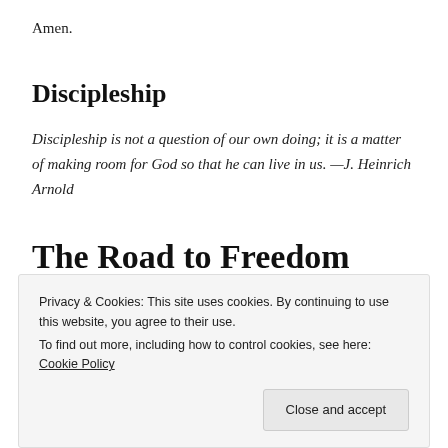Amen.
Discipleship
Discipleship is not a question of our own doing; it is a matter of making room for God so that he can live in us. —J. Heinrich Arnold
The Road to Freedom
Privacy & Cookies: This site uses cookies. By continuing to use this website, you agree to their use.
To find out more, including how to control cookies, see here: Cookie Policy